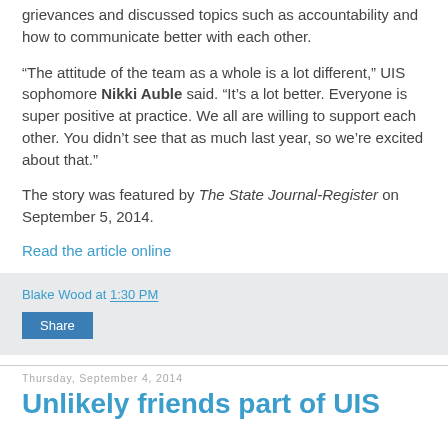grievances and discussed topics such as accountability and how to communicate better with each other.
“The attitude of the team as a whole is a lot different,” UIS sophomore Nikki Auble said. “It’s a lot better. Everyone is super positive at practice. We all are willing to support each other. You didn’t see that as much last year, so we’re excited about that.”
The story was featured by The State Journal-Register on September 5, 2014.
Read the article online
Blake Wood at 1:30 PM
Share
Thursday, September 4, 2014
Unlikely friends part of UIS